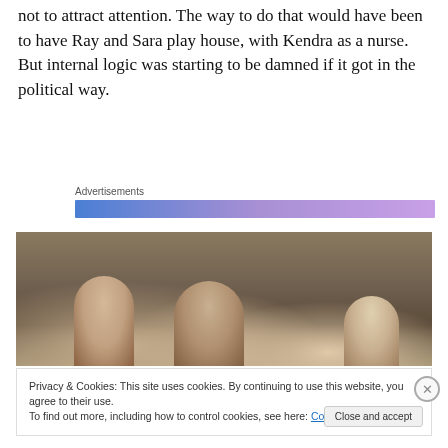not to attract attention. The way to do that would have been to have Ray and Sara play house, with Kendra as a nurse. But internal logic was starting to be damned if it got in the political way.
Advertisements
[Figure (photo): Partial photo of three people sitting, viewed from the shoulders up, against a muted tan/brown background. A red object is visible at left edge.]
Privacy & Cookies: This site uses cookies. By continuing to use this website, you agree to their use.
To find out more, including how to control cookies, see here: Cookie Policy
Close and accept